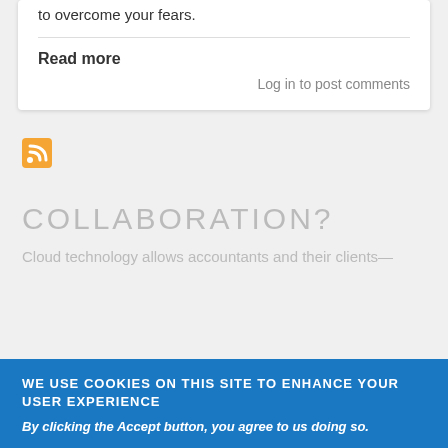to overcome your fears.
Read more
Log in to post comments
[Figure (logo): RSS feed icon, orange square with white RSS symbol]
COLLABORATION?
Cloud technology allows accountants and their clients—
WE USE COOKIES ON THIS SITE TO ENHANCE YOUR USER EXPERIENCE
By clicking the Accept button, you agree to us doing so.